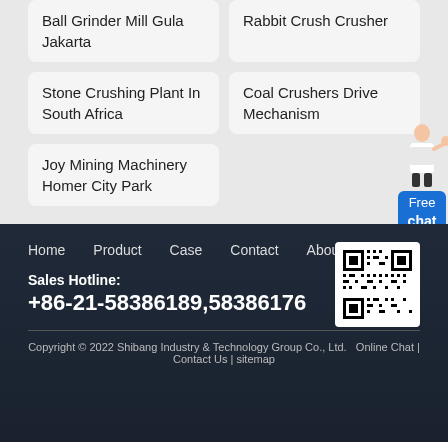Ball Grinder Mill Gula Jakarta
Rabbit Crush Crusher
Stone Crushing Plant In South Africa
Coal Crushers Drive Mechanism
Joy Mining Machinery Homer City Park
[Figure (other): Free chat widget with female figure icon and blue button]
Home   Product   Case   Contact   About
Sales Hotline:
+86-21-58386189,58386176
Copyright © 2022 Shibang Industry & Technology Group Co., Ltd.   Online Chat | Contact Us | sitemap
[Figure (other): QR code for website]